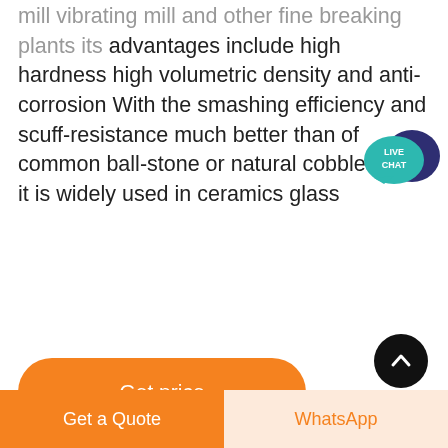mill vibrating mill and other fine breaking plants its advantages include high hardness high volumetric density and anti-corrosion With the smashing efficiency and scuff-resistance much better than of common ball-stone or natural cobblestone it is widely used in ceramics glass
[Figure (infographic): Live Chat speech bubble icon in teal/dark blue]
Get price
[Figure (photo): Industrial facility with large metal structure/building and crane conveyor against blue sky]
[Figure (other): Scroll to top button - dark circle with upward chevron]
Get a Quote
WhatsApp